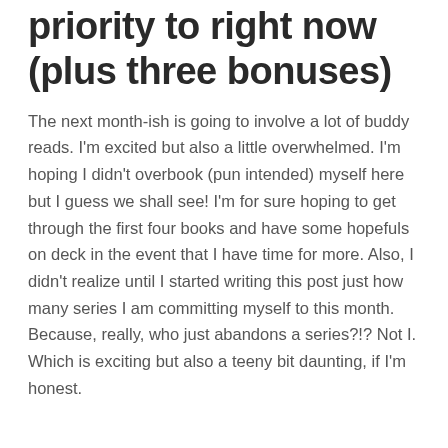priority to right now (plus three bonuses)
The next month-ish is going to involve a lot of buddy reads. I'm excited but also a little overwhelmed. I'm hoping I didn't overbook (pun intended) myself here but I guess we shall see! I'm for sure hoping to get through the first four books and have some hopefuls on deck in the event that I have time for more. Also, I didn't realize until I started writing this post just how many series I am committing myself to this month. Because, really, who just abandons a series?!? Not I. Which is exciting but also a teeny bit daunting, if I'm honest.